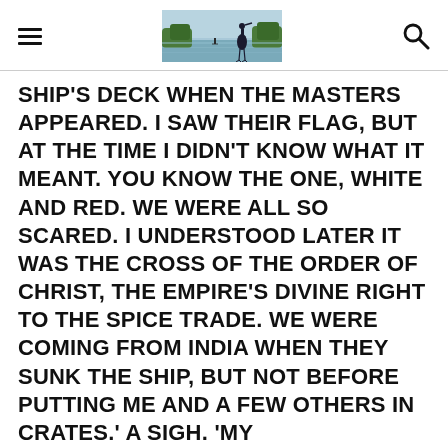[navigation header with hamburger menu, banner image, and search icon]
SHIP'S DECK WHEN THE MASTERS APPEARED. I SAW THEIR FLAG, BUT AT THE TIME I DIDN'T KNOW WHAT IT MEANT. YOU KNOW THE ONE, WHITE AND RED. WE WERE ALL SO SCARED. I UNDERSTOOD LATER IT WAS THE CROSS OF THE ORDER OF CHRIST, THE EMPIRE'S DIVINE RIGHT TO THE SPICE TRADE. WE WERE COMING FROM INDIA WHEN THEY SUNK THE SHIP, BUT NOT BEFORE PUTTING ME AND A FEW OTHERS IN CRATES.' A SIGH. 'MY SARCOPHAGUS. I WAS REBORN INSIDE IT.'